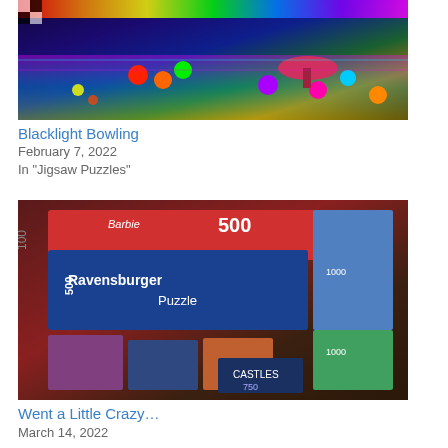[Figure (photo): Colorful blacklight bowling alley with glowing bowling balls, rainbow-lit lanes, and food/drinks on a table]
Blacklight Bowling
February 7, 2022
In "Jigsaw Puzzles"
[Figure (photo): Collection of jigsaw puzzle boxes including Barbie 500, Ravensburger Puzzle 500, and various 1000-piece puzzles stacked on a table]
Went a Little Crazy…
March 14, 2022
In "Jigsaw Puzzles"